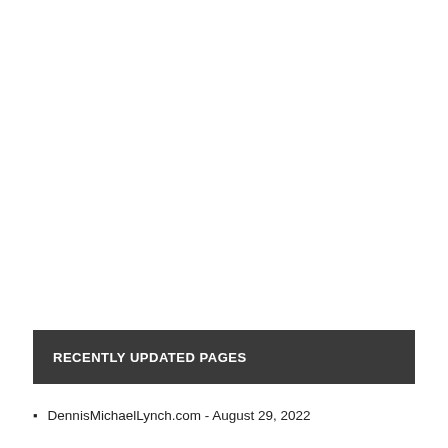RECENTLY UPDATED PAGES
DennisMichaelLynch.com - August 29, 2022